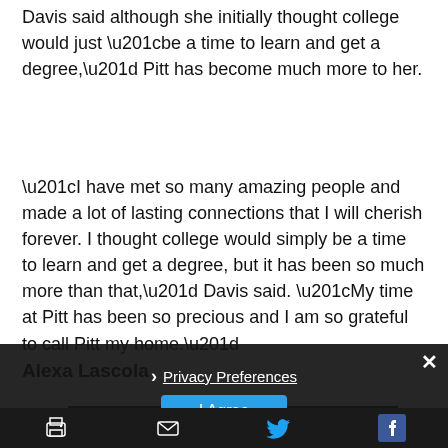Davis said although she initially thought college would just “be a time to learn and get a degree,” Pitt has become much more to her.
“I have met so many amazing people and made a lot of lasting connections that I will cherish forever. I thought college would simply be a time to learn and get a degree, but it has been so much more than that,” Davis said. “My time at Pitt has been so precious and I am so grateful to call Pitt my home.”
Alexa Lascola
[Figure (photo): Partially visible photograph with dark background, appears to be a person outdoors with foliage]
› Privacy Preferences
I Agree